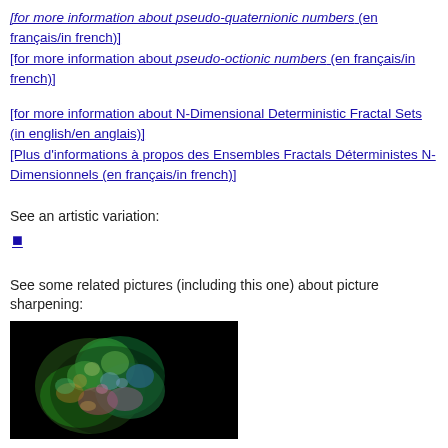[for more information about pseudo-quaternionic numbers (en français/in french)]
[for more information about pseudo-octionic numbers (en français/in french)]
[for more information about N-Dimensional Deterministic Fractal Sets (in english/en anglais)]
[Plus d'informations à propos des Ensembles Fractals Déterministes N-Dimensionnels (en français/in french)]
See an artistic variation:
■
See some related pictures (including this one) about picture sharpening:
[Figure (photo): Colorful fractal image on black background showing a 3D fractal structure with green, blue, pink and orange hues]